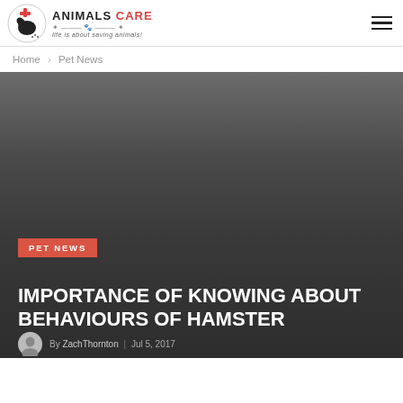ANIMALS CARE — Life is about saving animals!
Home › Pet News
[Figure (photo): Dark grey hero image background — appears to show a hamster or animal in low-light/dark tones]
PET NEWS
IMPORTANCE OF KNOWING ABOUT BEHAVIOURS OF HAMSTER
Jul 5, 2017